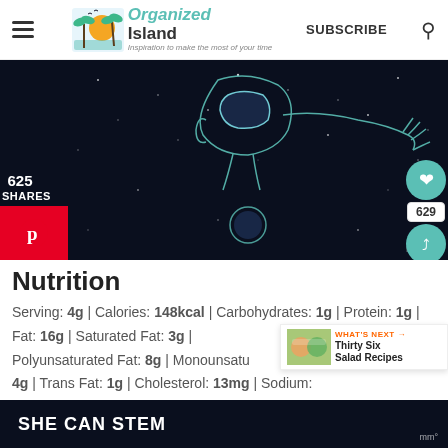Organized Island — Inspiration to make the most of your time | SUBSCRIBE
[Figure (illustration): Dark space illustration showing a hand/figure floating in space with a planet, white line art on dark navy background. Watermark 'mp' in bottom right.]
625 SHARES
Nutrition
Serving: 4g | Calories: 148kcal | Carbohydrates: 1g | Protein: 1g | Fat: 16g | Saturated Fat: 3g | Polyunsaturated Fat: 8g | Monounsaturated Fat: 4g | Trans Fat: 1g | Cholesterol: 13mg | Sodium: 334mg | Potassium: 50mg | Fiber: 1g | Sugar: 1g |
[Figure (infographic): What's Next banner showing Thirty Six Salad Recipes with food thumbnail]
SHE CAN STEM